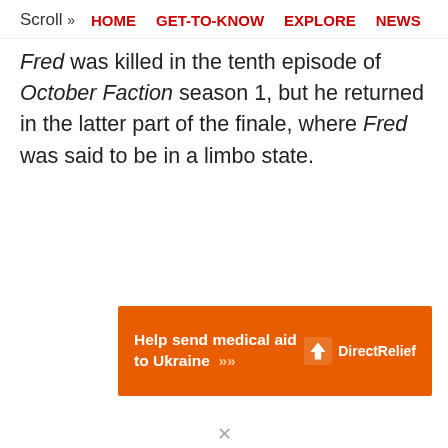Scroll >> HOME  GET-TO-KNOW  EXPLORE  NEWS
Fred was killed in the tenth episode of October Faction season 1, but he returned in the latter part of the finale, where Fred was said to be in a limbo state.
[Figure (infographic): Orange advertisement banner reading 'Help send medical aid to Ukraine >>' with Direct Relief logo on the right side.]